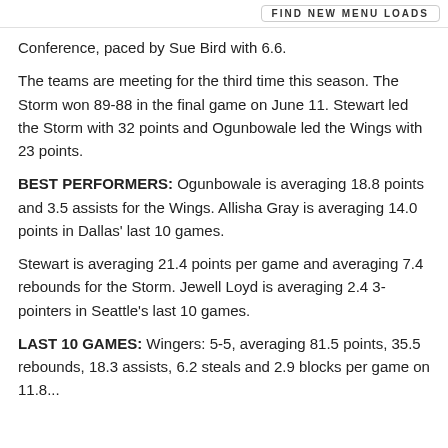[Figure (other): Banner advertisement or header graphic with logo and text 'FIND NEW MENU LOADS']
Conference, paced by Sue Bird with 6.6.
The teams are meeting for the third time this season. The Storm won 89-88 in the final game on June 11. Stewart led the Storm with 32 points and Ogunbowale led the Wings with 23 points.
BEST PERFORMERS: Ogunbowale is averaging 18.8 points and 3.5 assists for the Wings. Allisha Gray is averaging 14.0 points in Dallas' last 10 games.
Stewart is averaging 21.4 points per game and averaging 7.4 rebounds for the Storm. Jewell Loyd is averaging 2.4 3-pointers in Seattle's last 10 games.
LAST 10 GAMES: Wingers: 5-5, averaging 81.5 points, 35.5 rebounds, 18.3 assists, 6.2 steals and 2.9 blocks per game on 11.8...